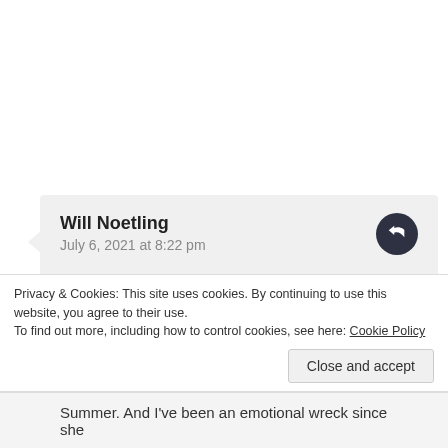Will Noetling
July 6, 2021 at 8:22 pm
Thank you for this, I'm going through this process right now with my 14 year old daughter. I've been her sole caregiver for most of her life. After my wife decided she didn't want to be married to me anymore, we had planned for our daughter to live with her, but she couldn't find a stable living situation, so I've had her with me the last 5 years. It hasn't been
Privacy & Cookies: This site uses cookies. By continuing to use this website, you agree to their use.
To find out more, including how to control cookies, see here: Cookie Policy
Close and accept
Summer. And I've been an emotional wreck since she